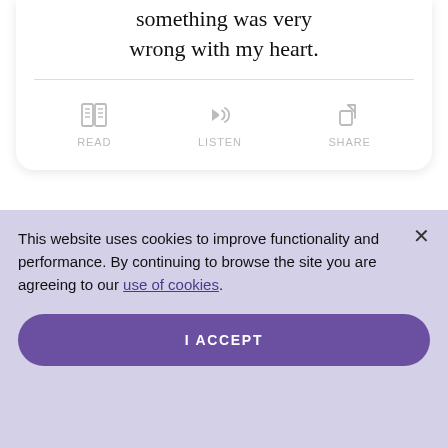something was very wrong with my heart.
[Figure (other): READ, LISTEN, SHARE action icons with book, speaker, and share symbols]
This website uses cookies to improve functionality and performance. By continuing to browse the site you are agreeing to our use of cookies.
I ACCEPT